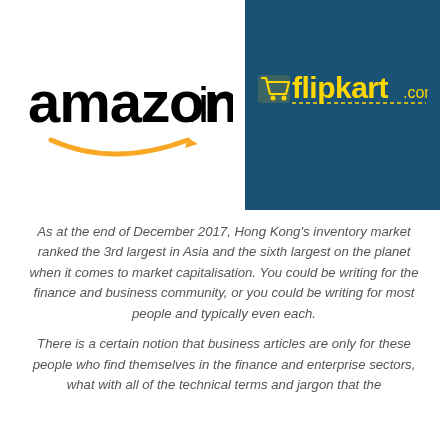[Figure (logo): Amazon.in logo — black text 'amazon.in' with orange arrow smile beneath]
[Figure (logo): Flipkart.com logo — yellow text on dark blue background with shopping cart icon]
As at the end of December 2017, Hong Kong's inventory market ranked the 3rd largest in Asia and the sixth largest on the planet when it comes to market capitalisation. You could be writing for the finance and business community, or you could be writing for most people and typically even each.
There is a certain notion that business articles are only for these people who find themselves in the finance and enterprise sectors, what with all of the technical terms and jargon that the